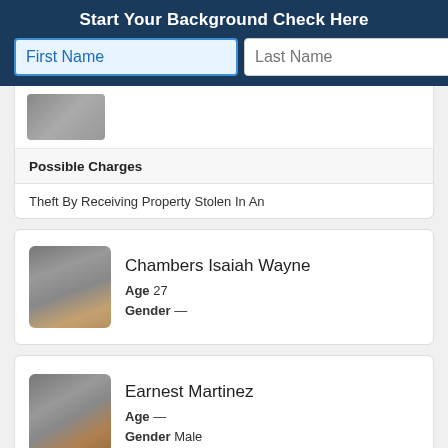Start Your Background Check Here
Possible Charges
Theft By Receiving Property Stolen In An
Chambers Isaiah Wayne
Age 27
Gender —
Earnest Martinez
Age —
Gender Male